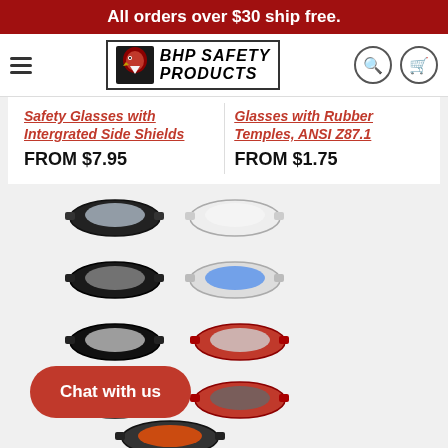All orders over $30 ship free.
[Figure (logo): BHP Safety Products logo with hawk/eagle mascot]
Safety Glasses with Intergrated Side Shields
Glasses with Rubber Temples, ANSI Z87.1
FROM $7.95
FROM $1.75
[Figure (photo): Grid of 9 safety glasses in various colors: black/clear, white/clear, black/gray, white/blue, black/silver, red/silver, black/blue-mirror, red/gray, orange/red-mirror]
MCR Crews Swagger Sporty SI Z87.1
FROM $3.50
Chat with us